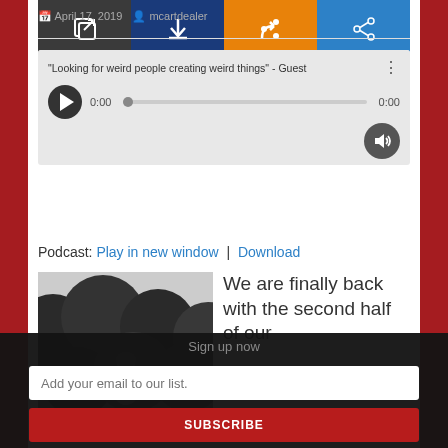April 17, 2019  mcartdealer
[Figure (screenshot): Embedded audio player widget showing title 'Looking for weird people creating weird things' - Guest, with play button, progress bar showing 0:00 / 0:00, volume button, and four action buttons: open in new window, download, RSS feed, and share]
Podcast: Play in new window | Download
[Figure (photo): Black and white photo of a woman with long dark hair and sunglasses standing among large dark spherical balloons with arms spread wide]
We are finally back with the second half of our
Sign up now
Add your email to our list.
SUBSCRIBE